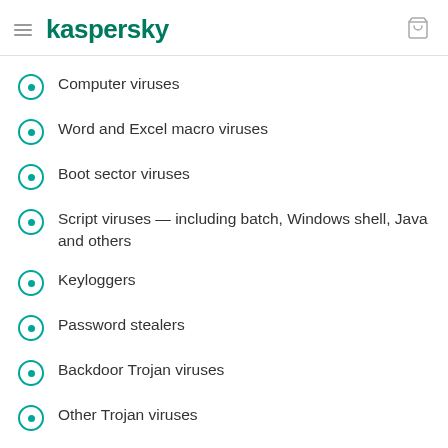kaspersky
Computer viruses
Word and Excel macro viruses
Boot sector viruses
Script viruses — including batch, Windows shell, Java and others
Keyloggers
Password stealers
Backdoor Trojan viruses
Other Trojan viruses
Crimeware
Spyware
Adware... and many other types of malicious software programs